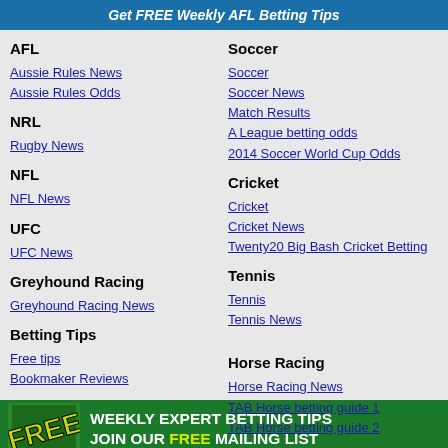Get FREE Weekly AFL Betting Tips
AFL
Aussie Rules News
Aussie Rules Odds
NRL
Rugby News
NFL
NFL News
UFC
UFC News
Greyhound Racing
Greyhound Racing News
Betting Tips
Free tips
Bookmaker Reviews
Soccer
Soccer
Soccer News
Match Results
A League betting odds
2014 Soccer World Cup Odds
Cricket
Cricket
Cricket News
Twenty20 Big Bash Cricket Betting
Tennis
Tennis
Tennis News
Horse Racing
Horse Racing News
TAB Horse betting guide 1
TAB Horse betting guide 2
FREE WEEKLY EXPERT BETTING TIPS JOIN OUR FREE MAILING LIST